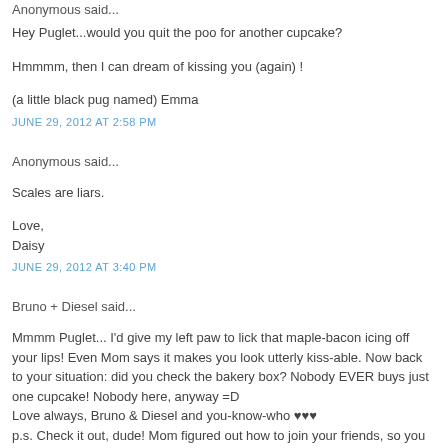Anonymous said...
Hey Puglet...would you quit the poo for another cupcake?
Hmmmm, then I can dream of kissing you (again) !
(a little black pug named) Emma
JUNE 29, 2012 AT 2:58 PM
Anonymous said...
Scales are liars.
Love,
Daisy
JUNE 29, 2012 AT 3:40 PM
Bruno + Diesel said...
Mmmm Puglet... I'd give my left paw to lick that maple-bacon icing off your lips! Even Mom says it makes you look utterly kiss-able. Now back to your situation: did you check the bakery box? Nobody EVER buys just one cupcake! Nobody here, anyway =D
Love always, Bruno & Diesel and you-know-who ♥♥♥
p.s. Check it out, dude! Mom figured out how to join your friends, so you can see my pic! She couldn't get Diesel's fat head to fit in the little box, so it's just me, me, me! So sad. Not.